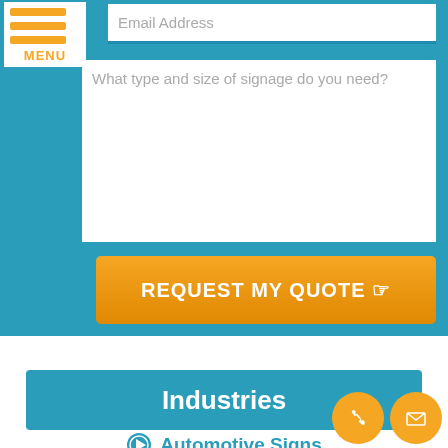MENU
Email Address
What type and size of signage do you need?
REQUEST MY QUOTE
Industries
Automotive Signs
Bank Signs
Bar Signs
Barber Signs